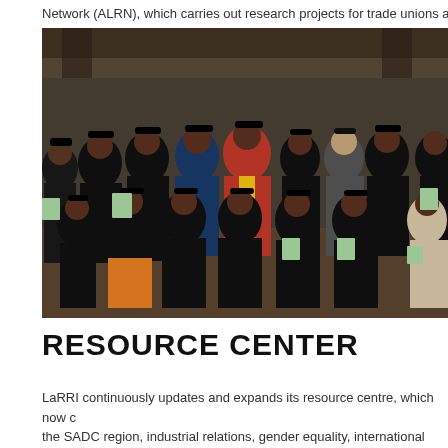Network (ALRN), which carries out research projects for trade unions acros
[Figure (photo): Group photo of graduates wearing black academic gowns and mortarboard caps, holding certificates, posed together indoors. One person in the center wears a red and yellow academic robe. Some graduates are seated in the front row, others standing behind.]
RESOURCE CENTER
LaRRI continuously updates and expands its resource centre, which now c the SADC region, industrial relations, gender equality, international trade u